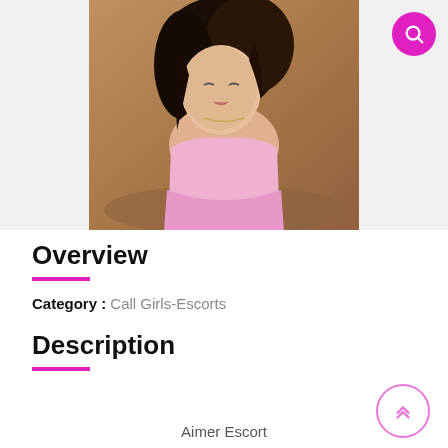[Figure (photo): A woman with dark hair wearing a pink strapless dress, photographed outdoors with a brownish background.]
Overview
Category : Call Girls-Escorts
Description
Aimer Escort